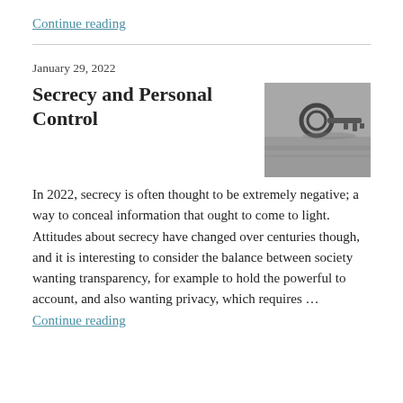Continue reading
January 29, 2022
Secrecy and Personal Control
[Figure (photo): Black and white photo of a key lying on a surface]
In 2022, secrecy is often thought to be extremely negative; a way to conceal information that ought to come to light. Attitudes about secrecy have changed over centuries though, and it is interesting to consider the balance between society wanting transparency, for example to hold the powerful to account, and also wanting privacy, which requires … Continue reading